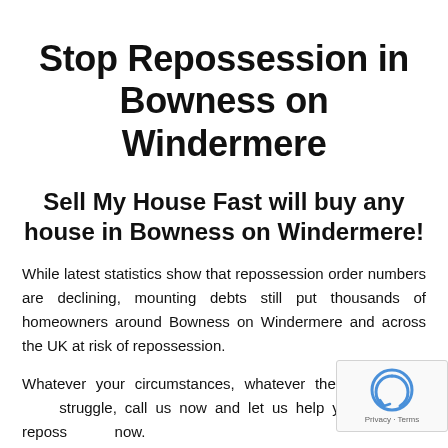Stop Repossession in Bowness on Windermere
Sell My House Fast will buy any house in Bowness on Windermere!
While latest statistics show that repossession order numbers are declining, mounting debts still put thousands of homeowners around Bowness on Windermere and across the UK at risk of repossession.
Whatever your circumstances, whatever the reasons for your struggle, call us now and let us help you stop that repossession now.